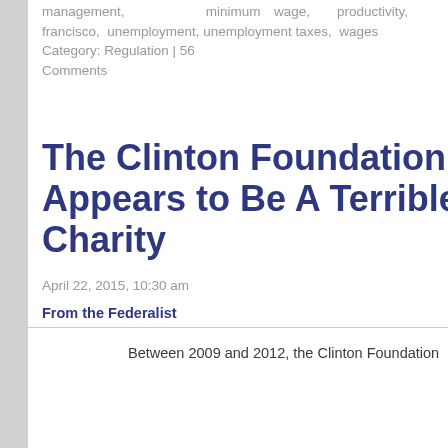management, minimum wage, productivity, san francisco, unemployment, unemployment taxes, wages
Category: Regulation | 56 Comments
The Clinton Foundation Appears to Be A Terrible Charity
April 22, 2015, 10:30 am
From the Federalist
Between 2009 and 2012, the Clinton Foundation